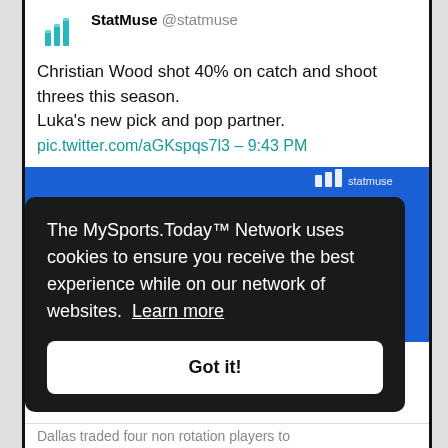StatMuse @statmuse
Christian Wood shot 40% on catch and shoot threes this season.
Luka's new pick and pop partner.
pic.twitter.com/aGKspqs7l3 – 9:43 PM
[Figure (illustration): StatMuse card showing cartoon illustration of Christian Wood on blue background with StatMuse watermark logo in top right corner]
The MySports.Today™ Network uses cookies to ensure you receive the best experience while on our network of websites. Learn more
Got it!
Dallas traded four non rotation players to